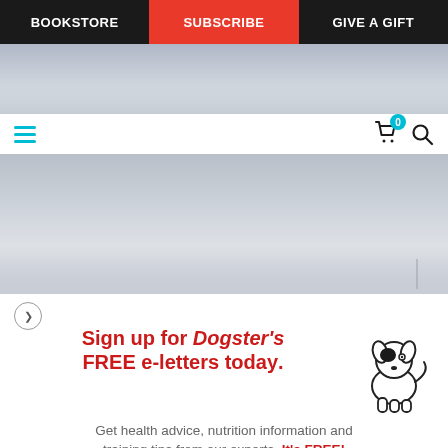BOOKSTORE | SUBSCRIBE | GIVE A GIFT
[Figure (screenshot): Website navigation bar with three items: BOOKSTORE, SUBSCRIBE (active/red), GIVE A GIFT on dark background]
[Figure (photo): Partial outdoor winter photo showing snowy landscape with grey sky]
[Figure (illustration): Simple cartoon line drawing of a dog (white with black eye spot)]
Sign up for Dogster's FREE e-letters today.
Get health advice, nutrition information and training tips from our experts. It's FREE!
Enter your Email
YES! SIGN ME UP